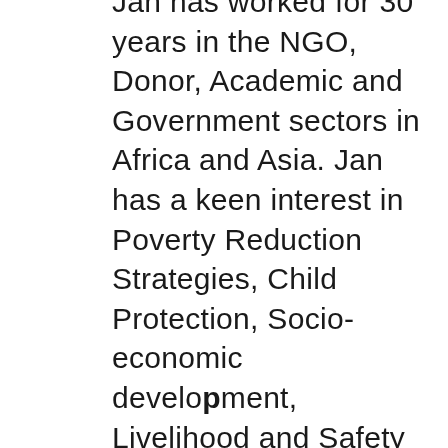Jan has worked for 30 years in the NGO, Donor, Academic and Government sectors in Africa and Asia. Jan has a keen interest in Poverty Reduction Strategies, Child Protection, Socio-economic development, Livelihood and Safety net programming, Human Rights and Advocacy campaigns for the poor, marginalized and most vulnerable people in society with a strong gender lens. Advancing education opportunities and ensuring better access to health care for communities at risk is also an area of interest for Jan. He has worked in all of these sectors at community, policy and management level. Jan has had roles in South Africa, Namibia, Malawi, Uganda, Democratic Republic of the Congo, Kenya, Tanzania, Bangladesh and Singapore.